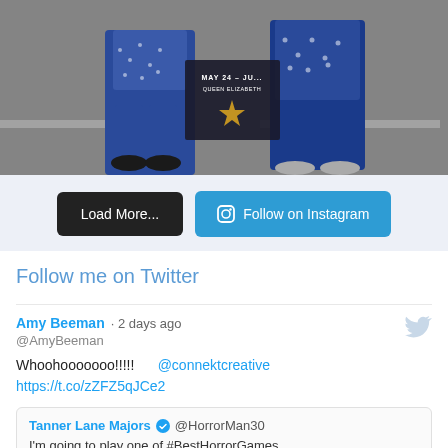[Figure (photo): Two people in matching blue floral/patterned outfits standing in front of a Hollywood Walk of Fame star display, text reads MAY 24 - Ju... QUEEN ELIZABETH]
Load More...
Follow on Instagram
Follow me on Twitter
Amy Beeman · 2 days ago
@AmyBeeman
Whoohooooooo!!!!!      @connektcreative
https://t.co/zZFZ5qJCe2
Tanner Lane Majors ✓ @HorrorMan30
I'm going to play one of #BestHorrorGames #FobiaStDinfnaHotel @ForrestAnthony @AmyBeeman @ZackSageVO @amandaspinosa